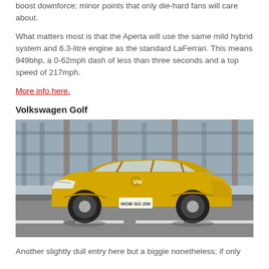boost downforce; minor points that only die-hard fans will care about.
What matters most is that the Aperta will use the same mild hybrid system and 6.3-litre engine as the standard LaFerrari. This means 949bhp, a 0-62mph dash of less than three seconds and a top speed of 217mph.
More info here.
Volkswagen Golf
[Figure (photo): Yellow Volkswagen Golf driving on a road with a multi-storey car park or industrial structure in the background. License plate reads WOB GO 200.]
Another slightly dull entry here but a biggie nonetheless; if only